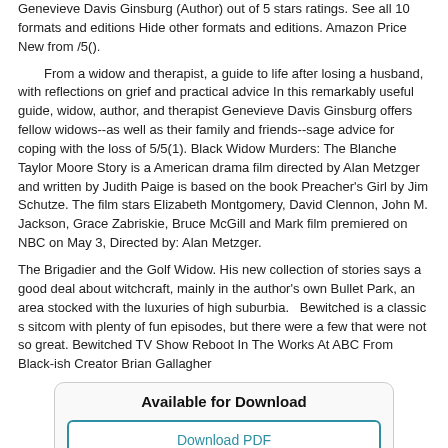Genevieve Davis Ginsburg (Author) out of 5 stars ratings. See all 10 formats and editions Hide other formats and editions. Amazon Price New from /5().
From a widow and therapist, a guide to life after losing a husband, with reflections on grief and practical advice In this remarkably useful guide, widow, author, and therapist Genevieve Davis Ginsburg offers fellow widows--as well as their family and friends--sage advice for coping with the loss of 5/5(1). Black Widow Murders: The Blanche Taylor Moore Story is a American drama film directed by Alan Metzger and written by Judith Paige is based on the book Preacher's Girl by Jim Schutze. The film stars Elizabeth Montgomery, David Clennon, John M. Jackson, Grace Zabriskie, Bruce McGill and Mark film premiered on NBC on May 3, Directed by: Alan Metzger.
The Brigadier and the Golf Widow. His new collection of stories says a good deal about witchcraft, mainly in the author's own Bullet Park, an area stocked with the luxuries of high suburbia.   Bewitched is a classic s sitcom with plenty of fun episodes, but there were a few that were not so great. Bewitched TV Show Reboot In The Works At ABC From Black-ish Creator Brian Gallagher
[Figure (other): A download box with title 'Available for Download' and two buttons: 'Download PDF' and 'Download EPUB']